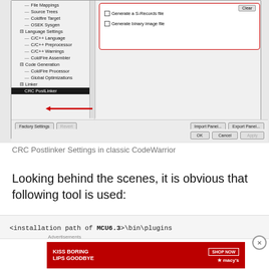[Figure (screenshot): Screenshot of classic CodeWarrior IDE dialog showing CRC PostLinker settings panel. Left tree panel lists File Mappings, Source Trees, Coldfire Target, OSEK Sysgen, Language Settings (C/C++ Language, C/C++ Preprocessor, C/C++ Warnings, ColdFire Assembler), Code Generation (ColdFire Processor, Global Optimizations), Linker, CRC PostLinker (selected, highlighted in black). Right panel shows a red-bordered options box with Clear button, Generate a S-Records file checkbox, Generate binary image file checkbox. Bottom has Factory Settings, Revert, Import Panel, Export Panel buttons and OK, Cancel, Apply buttons. A red arrow points to CRC PostLinker in the tree.]
CRC Postlinker Settings in classic CodeWarrior
Looking behind the scenes, it is obvious that following tool is used:
<installation path of MCU6.3>\bin\plugins